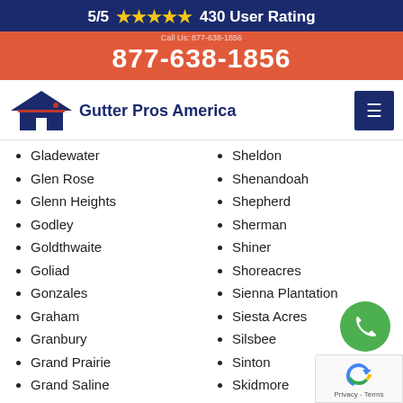5/5 ★★★★★ 430 User Rating
877-638-1856
[Figure (logo): Gutter Pros America logo with house roof icon]
Gladewater
Glen Rose
Glenn Heights
Godley
Goldthwaite
Goliad
Gonzales
Graham
Granbury
Grand Prairie
Grand Saline
Grandview
Granger
Sheldon
Shenandoah
Shepherd
Sherman
Shiner
Shoreacres
Sienna Plantation
Siesta Acres
Silsbee
Sinton
Skidmore
Slaton
Smithville